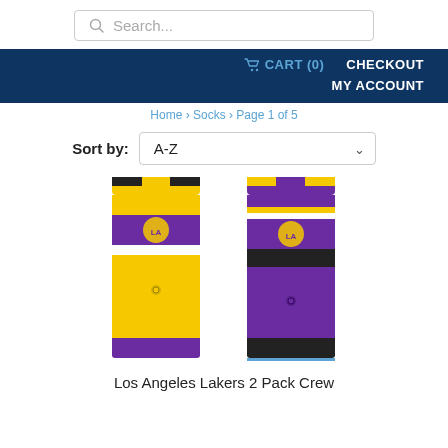Search...
CART (0)   CHECKOUT   MY ACCOUNT
Home > Socks > Page 1 of 5
Sort by: A-Z
[Figure (photo): Two Los Angeles Lakers crew socks — one yellow and one purple — with Lakers logo and striped pattern, displayed side by side.]
Los Angeles Lakers 2 Pack Crew